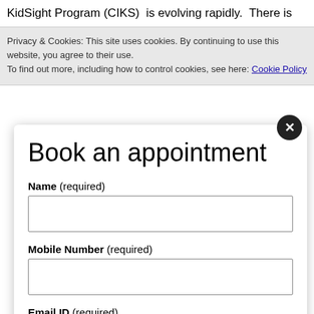KidSight Program (CIKS)  is evolving rapidly.  There is
Privacy & Cookies: This site uses cookies. By continuing to use this website, you agree to their use.
To find out more, including how to control cookies, see here: Cookie Policy
Book an appointment
Name (required)
Mobile Number (required)
Email ID (required)